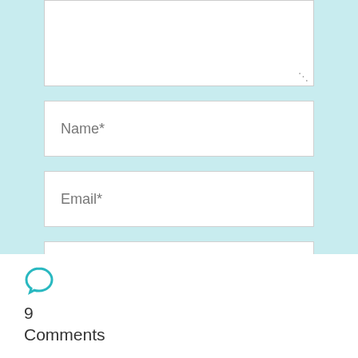[Figure (screenshot): Web form partial screenshot showing textarea (top, partially cropped), Name* input field, Email* input field, Website input field, and a checkbox with label 'Save my name, email, and website in this browser for the next time I comment.' All on a light teal/cyan background.]
Name*
Email*
Website
Save my name, email, and website in this browser for the next time I comment.
[Figure (illustration): Teal speech bubble / comment icon]
9 Comments